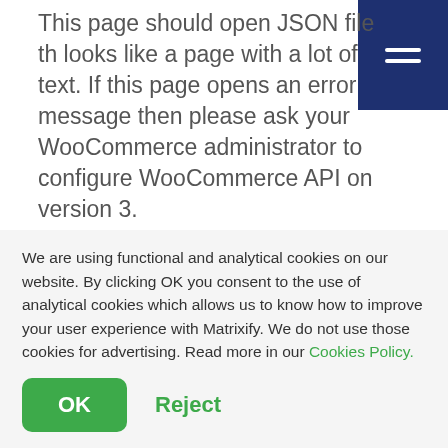This page should open JSON file th looks like a page with a lot of text. If this page opens an error message then please ask your WooCommerce administrator to configure WooCommerce API on version 3.
We are using functional and analytical cookies on our website. By clicking OK you consent to the use of analytical cookies which allows us to know how to improve your user experience with Matrixify. We do not use those cookies for advertising. Read more in our Cookies Policy.
OK
Reject